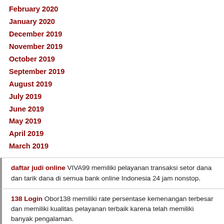February 2020
January 2020
December 2019
November 2019
October 2019
September 2019
August 2019
July 2019
June 2019
May 2019
April 2019
March 2019
daftar judi online VIVA99 memiliki pelayanan transaksi setor dana dan tarik dana di semua bank online Indonesia 24 jam nonstop.
138 Login Obor138 memiliki rate persentase kemenangan terbesar dan memiliki kualitas pelayanan terbaik karena telah memiliki banyak pengalaman.
Tags